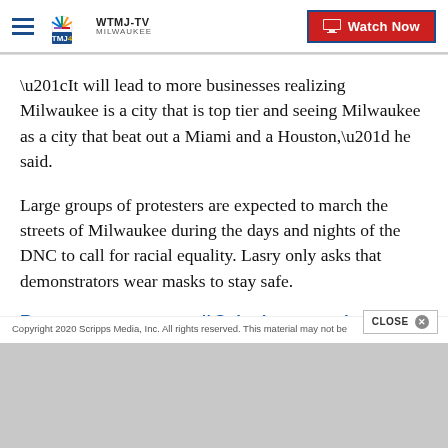WTMJ-TV MILWAUKEE — Watch Now
“It will lead to more businesses realizing Milwaukee is a city that is top tier and seeing Milwaukee as a city that beat out a Miami and a Houston,” he said.
Large groups of protesters are expected to march the streets of Milwaukee during the days and nights of the DNC to call for racial equality. Lasry only asks that demonstrators wear masks to stay safe.
Report a typo or error // Submit a news tip
Copyright 2020 Scripps Media, Inc. All rights reserved. This material may not be